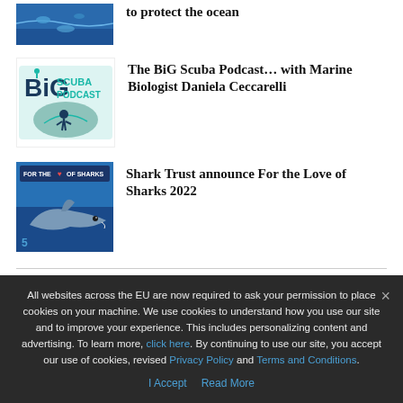[Figure (photo): Underwater ocean scene thumbnail at top]
to protect the ocean
[Figure (logo): BiG Scuba Podcast logo with diver silhouette]
The BiG Scuba Podcast… with Marine Biologist Daniela Ceccarelli
[Figure (photo): For the Love of Sharks 2022 promotional image with shark underwater]
Shark Trust announce For the Love of Sharks 2022
MARINE LIFE & CONSERVATION
All websites across the EU are now required to ask your permission to place cookies on your machine. We use cookies to understand how you use our site and to improve your experience. This includes personalizing content and advertising. To learn more, click here. By continuing to use our site, you accept our use of cookies, revised Privacy Policy and Terms and Conditions.
I Accept   Read More